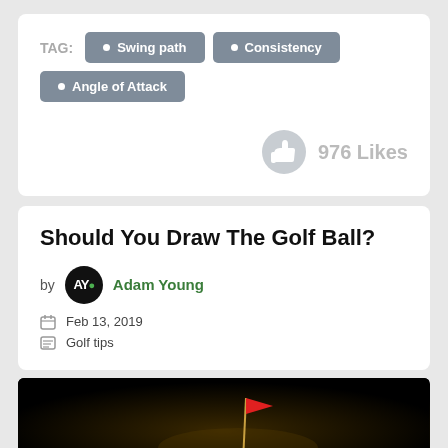TAG: Swing path
Consistency
Angle of Attack
976 Likes
Should You Draw The Golf Ball?
by Adam Young
Feb 13, 2019
Golf tips
[Figure (photo): Dark background image of a golf flag on a course with dim lighting]